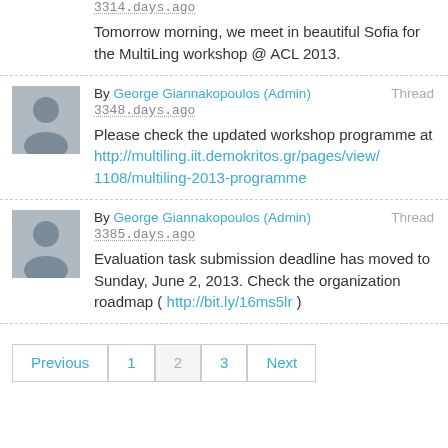3314 days ago
Tomorrow morning, we meet in beautiful Sofia for the MultiLing workshop @ ACL 2013.
By George Giannakopoulos (Admin) 3348 days ago
Please check the updated workshop programme at http://multiling.iit.demokritos.gr/pages/view/1108/multiling-2013-programme
By George Giannakopoulos (Admin) 3385 days ago
Evaluation task submission deadline has moved to Sunday, June 2, 2013. Check the organization roadmap ( http://bit.ly/16ms5lr )
Previous 1 2 3 Next